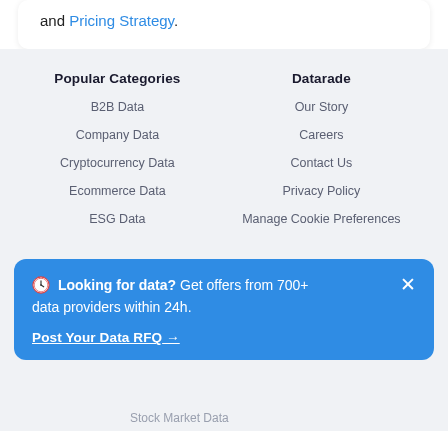and Pricing Strategy.
Popular Categories
Datarade
B2B Data
Our Story
Company Data
Careers
Cryptocurrency Data
Contact Us
Ecommerce Data
Privacy Policy
ESG Data
Manage Cookie Preferences
🕐 Looking for data? Get offers from 700+ data providers within 24h.
Post Your Data RFQ →
Stock Market Data